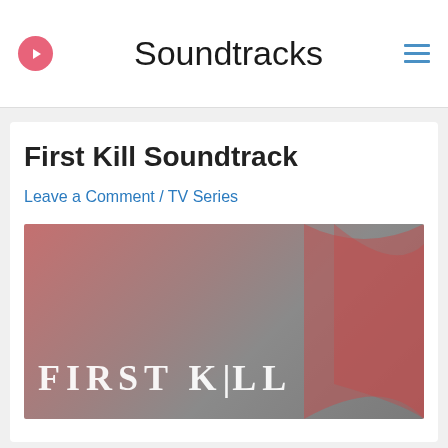Soundtracks
First Kill Soundtrack
Leave a Comment / TV Series
[Figure (photo): First Kill TV series promotional image with red swoosh design and white 'FIRST KILL' text on a muted gray-red background]